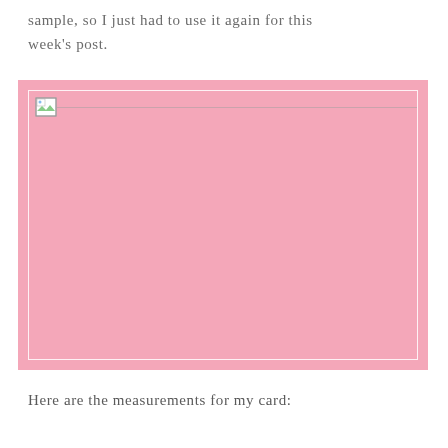sample, so I just had to use it again for this week's post.
[Figure (photo): A pink rectangular card with a white border inner frame, with a broken image icon in the top-left corner and a faint horizontal line.]
Here are the measurements for my card: